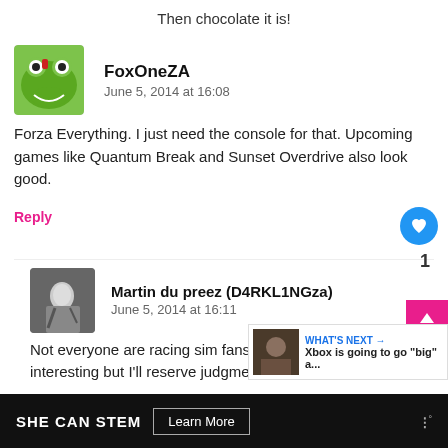Then chocolate it is!
FoxOneZA
June 5, 2014 at 16:08
Forza Everything. I just need the console for that. Upcoming games like Quantum Break and Sunset Overdrive also look good.
Reply
Martin du preez (D4RKL1NGza)
June 5, 2014 at 16:11
Not everyone are racing sim fans. Quantum Break looks interesting but I'll reserve judgment
WHAT'S NEXT → Xbox is going to go "big" a...
SHE CAN STEM  Learn More